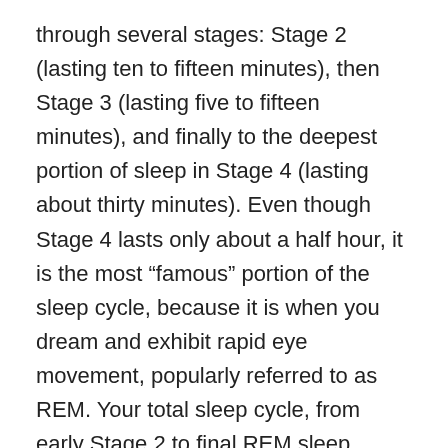through several stages: Stage 2 (lasting ten to fifteen minutes), then Stage 3 (lasting five to fifteen minutes), and finally to the deepest portion of sleep in Stage 4 (lasting about thirty minutes). Even though Stage 4 lasts only about a half hour, it is the most “famous” portion of the sleep cycle, because it is when you dream and exhibit rapid eye movement, popularly referred to as REM. Your total sleep cycle, from early Stage 2 to final REM sleep, takes an average of ninety minutes to complete.
And, most importantly for people who have trouble sleeping, this cycle repeats itself over and over throughout the night—which means that interruptions can make it harder to get back to sleep, depending on which part of the cycle the sleeper is experiencing when awakened. In sleep-research labs, where alarm clocks, lights, and other